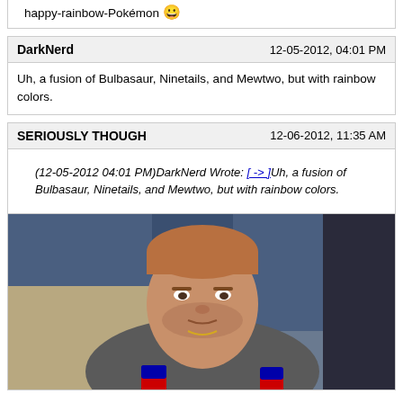happy-rainbow-Pokémon 😀
DarkNerd    12-05-2012, 04:01 PM
Uh, a fusion of Bulbasaur, Ninetails, and Mewtwo, but with rainbow colors.
SERIOUSLY THOUGH    12-06-2012, 11:35 AM
(12-05-2012 04:01 PM)DarkNerd Wrote: [->] Uh, a fusion of Bulbasaur, Ninetails, and Mewtwo, but with rainbow colors.
[Figure (photo): Photo of Chuck Norris sitting, wearing a gray shirt, holding a Pepsi can, with people in jeans visible behind him.]